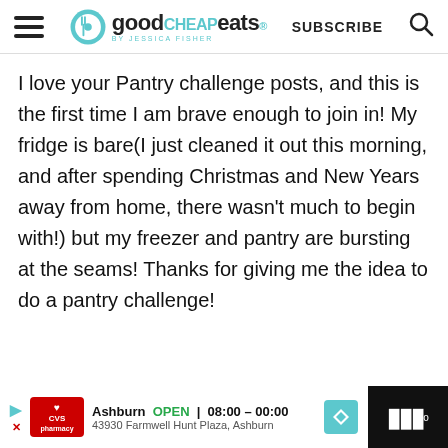good CHEAP eats by Jessica Fisher | SUBSCRIBE
I love your Pantry challenge posts, and this is the first time I am brave enough to join in! My fridge is bare(I just cleaned it out this morning, and after spending Christmas and New Years away from home, there wasn't much to begin with!) but my freezer and pantry are bursting at the seams! Thanks for giving me the idea to do a pantry challenge!
CVS pharmacy | Ashburn OPEN 08:00 – 00:00 | 43930 Farmwell Hunt Plaza, Ashburn